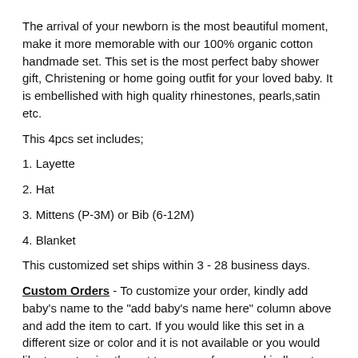The arrival of your newborn is the most beautiful moment, make it more memorable with our 100% organic cotton handmade set. This set is the most perfect baby shower gift, Christening or home going outfit for your loved baby. It is embellished with high quality rhinestones, pearls,satin etc.
This 4pcs set includes;
1. Layette
2. Hat
3. Mittens (P-3M) or Bib (6-12M)
4. Blanket
This customized set ships within 3 - 28 business days.
Custom Orders - To customize your order, kindly add baby's name to the "add baby's name here" column above and add the item to cart. If you would like this set in a different size or color and it is not available or you would like to customize the set to your preferences, kindly enter the size, details and information you'd like in the "add baby's name here" column above and add the item to cart for checkout.